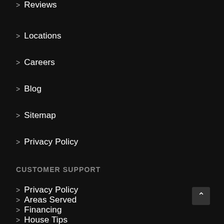> Reviews
> Locations
> Careers
> Blog
> Sitemap
> Privacy Policy
CUSTOMER SUPPORT
> Privacy Policy
> Areas Served
> Financing
> House Tips